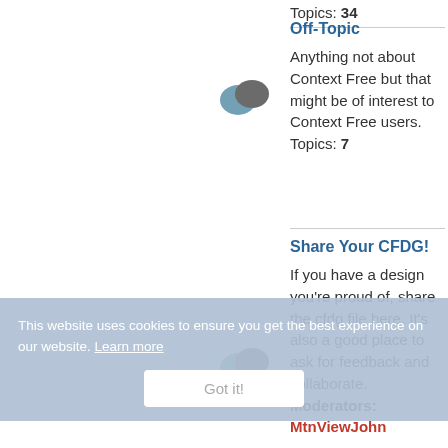Topics: 34
Off-Topic
Anything not about Context Free but that might be of interest to Context Free users.
Topics: 7
Share Your CFDG!
If you have a design you're proud of, share the cfdg file here. It's also a good place to ask for feedback and collaborate.
Moderators:
MtnViewJohn
This website uses cookies to ensure you get the best experience on our website. Learn more
Got it!